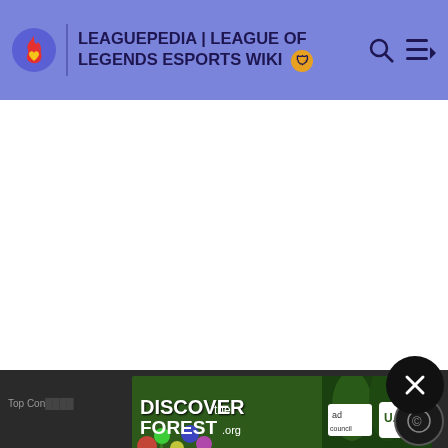LEAGUEPEDIA | LEAGUE OF LEGENDS ESPORTS WIKI
[Figure (screenshot): White empty main content area of the Leaguepedia wiki page]
MORE INFORMATION
Top Con
[Figure (infographic): DiscovertheForest.org ad banner with colorful forest imagery, ad council logo, and US Forest Service shield logo]